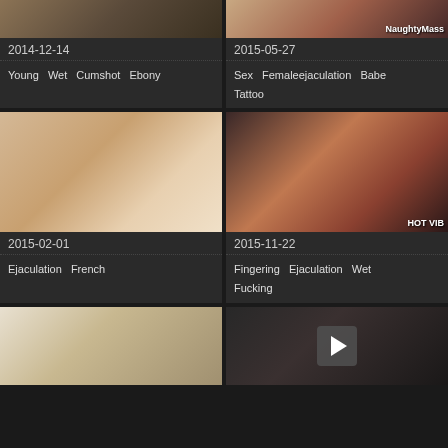[Figure (screenshot): Top-left video thumbnail, partial image]
2014-12-14
Young   Wet   Cumshot   Ebony
[Figure (screenshot): Top-right video thumbnail with NaughtyMass watermark, partial image]
2015-05-27
Sex   Femaleejaculation   Babe   Tattoo
[Figure (screenshot): Middle-left video thumbnail]
2015-02-01
Ejaculation   French
[Figure (screenshot): Middle-right video thumbnail with HOT VIB watermark]
2015-11-22
Fingering   Ejaculation   Wet   Fucking
[Figure (screenshot): Bottom-left video thumbnail, partial]
[Figure (screenshot): Bottom-right video thumbnail with play button overlay, partial]